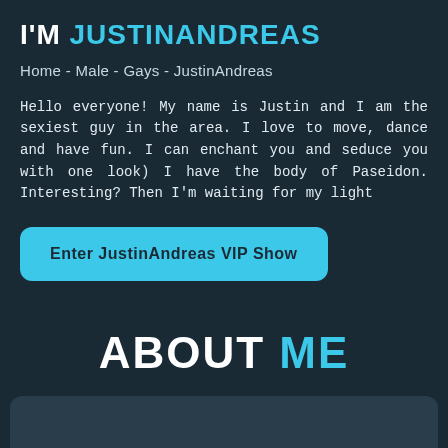I'M JUSTINANDREAS
Home - Male - Gays - JustinAndreas
Hello everyone! My name is Justin and I am the sexiest guy in the area. I love to move, dance and have fun. I can enchant you and seduce you with one look) I have the body of Paseidon. Interesting? Then I'm waiting for my light
Enter JustinAndreas VIP Show
ABOUT ME